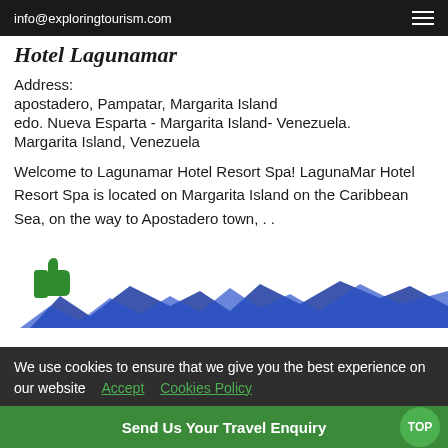info@exploringtourism.com
Hotel Lagunamar
Address:
apostadero, Pampatar, Margarita Island
edo. Nueva Esparta - Margarita Island- Venezuela.
Margarita Island, Venezuela
Welcome to Lagunamar Hotel Resort Spa! LagunaMar Hotel Resort Spa is located on Margarita Island on the Caribbean Sea, on the way to Apostadero town, . .
[Figure (illustration): Green thumbs up icon]
[Figure (illustration): Blue mountain silhouette decorative graphic]
We use cookies to ensure that we give you the best experience on our website   Accept   Cookies Policy
Send Us Your Travel Enquiry